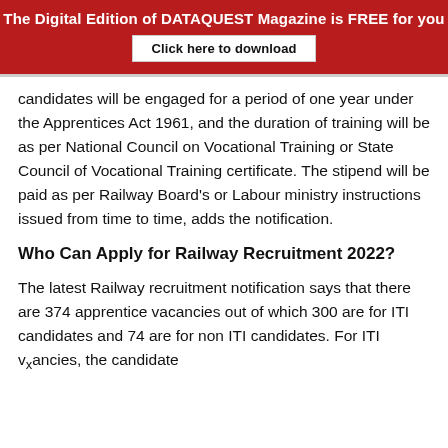The Digital Edition of DATAQUEST Magazine is FREE for you
Click here to download
candidates will be engaged for a period of one year under the Apprentices Act 1961, and the duration of training will be as per National Council on Vocational Training or State Council of Vocational Training certificate. The stipend will be paid as per Railway Board’s or Labour ministry instructions issued from time to time, adds the notification.
Who Can Apply for Railway Recruitment 2022?
The latest Railway recruitment notification says that there are 374 apprentice vacancies out of which 300 are for ITI candidates and 74 are for non ITI candidates. For ITI vₓancies, the candidate